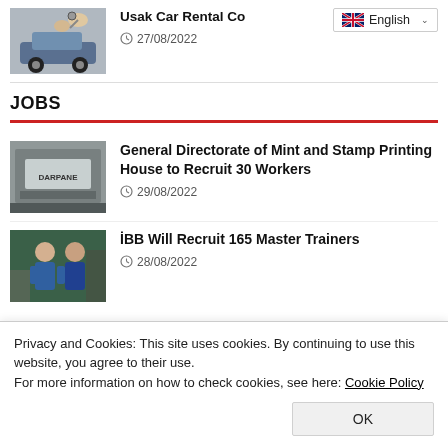[Figure (photo): Car rental photo showing hands exchanging car keys over a vehicle]
Usak Car Rental Co
27/08/2022
JOBS
[Figure (photo): Building entrance sign reading DARPANE (Mint and Stamp Printing House)]
General Directorate of Mint and Stamp Printing House to Recruit 30 Workers
29/08/2022
[Figure (photo): Two workers, one older man and one younger in blue uniform, working with machinery]
İBB Will Recruit 165 Master Trainers
28/08/2022
Privacy and Cookies: This site uses cookies. By continuing to use this website, you agree to their use.
For more information on how to check cookies, see here: Cookie Policy